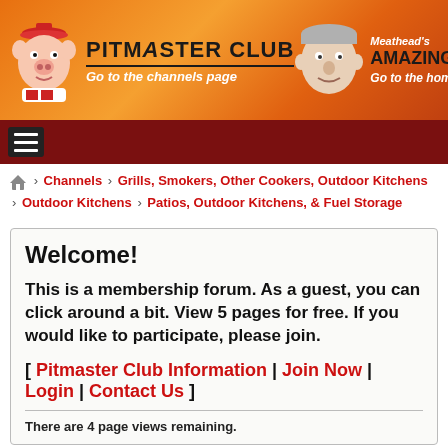[Figure (screenshot): Pitmaster Club and AmazingRibs.com header banner with orange flame background, pig mascot on left, man's face on right]
PITMASTER CLUB - Go to the channels page | Meathead's AmazingRibs.com - Go to the homepage
[Figure (logo): Navigation bar with hamburger menu icon on dark red background]
Home > Channels > Grills, Smokers, Other Cookers, Outdoor Kitchens > Outdoor Kitchens > Patios, Outdoor Kitchens, & Fuel Storage
Welcome!
This is a membership forum. As a guest, you can click around a bit. View 5 pages for free. If you would like to participate, please join.
[ Pitmaster Club Information | Join Now | Login | Contact Us ]
There are 4 page views remaining.